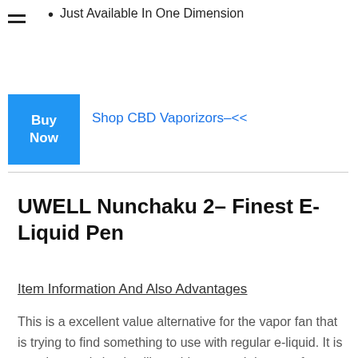Just Available In One Dimension
Shop CBD Vaporizors–<<
Buy Now
UWELL Nunchaku 2– Finest E-Liquid Pen
Item Information And Also Advantages
This is a excellent value alternative for the vapor fan that is trying to find something to use with regular e-liquid. It is not also costly but it still provides a good degree of top quality.